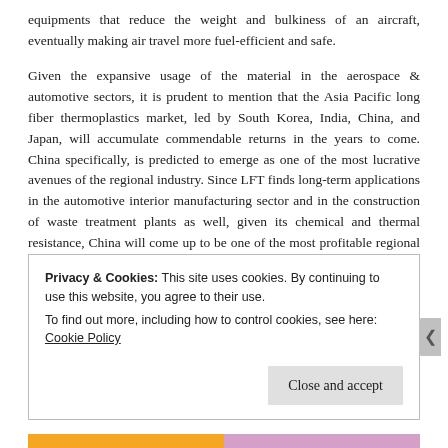equipments that reduce the weight and bulkiness of an aircraft, eventually making air travel more fuel-efficient and safe.
Given the expansive usage of the material in the aerospace & automotive sectors, it is prudent to mention that the Asia Pacific long fiber thermoplastics market, led by South Korea, India, China, and Japan, will accumulate commendable returns in the years to come. China specifically, is predicted to emerge as one of the most lucrative avenues of the regional industry. Since LFT finds long-term applications in the automotive interior manufacturing sector and in the construction of waste treatment plants as well, given its chemical and thermal resistance, China will come up to be one of the most profitable regional grounds for the long fiber thermoplastic industry. As per estimates, China long fiber
Privacy & Cookies: This site uses cookies. By continuing to use this website, you agree to their use. To find out more, including how to control cookies, see here: Cookie Policy
Close and accept